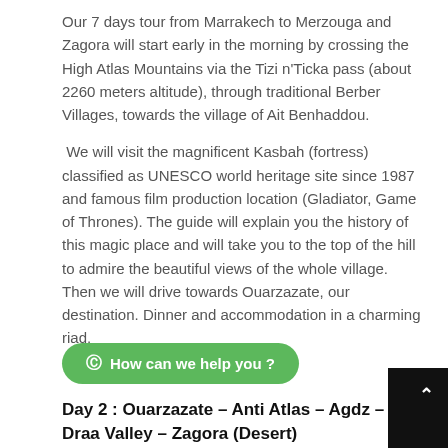Our 7 days tour from Marrakech to Merzouga and Zagora will start early in the morning by crossing the High Atlas Mountains via the Tizi n'Ticka pass (about 2260 meters altitude), through traditional Berber Villages, towards the village of Ait Benhaddou.
We will visit the magnificent Kasbah (fortress) classified as UNESCO world heritage site since 1987 and famous film production location (Gladiator, Game of Thrones). The guide will explain you the history of this magic place and will take you to the top of the hill to admire the beautiful views of the whole village. Then we will drive towards Ouarzazate, our destination. Dinner and accommodation in a charming riad.
How can we help you ?
Day 2 : Ouarzazate – Anti Atlas – Agdz – Draa Valley – Zagora (Desert)